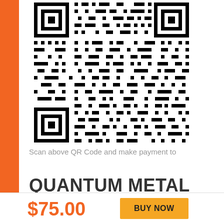[Figure (other): QR Code for payment to Quantum Metal]
Scan above QR Code and make payment to
QUANTUM METAL
$75.00
BUY NOW